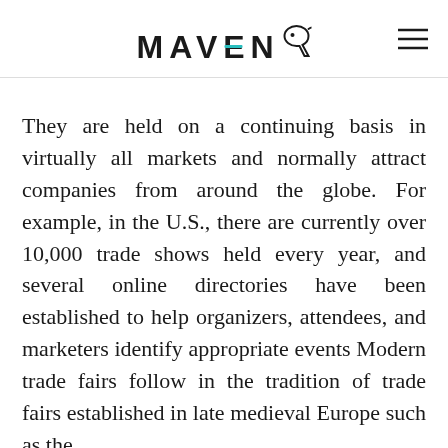MAVENQ
They are held on a continuing basis in virtually all markets and normally attract companies from around the globe. For example, in the U.S., there are currently over 10,000 trade shows held every year, and several online directories have been established to help organizers, attendees, and marketers identify appropriate events Modern trade fairs follow in the tradition of trade fairs established in late medieval Europe such as the Champagne fairs, in the performance of ...